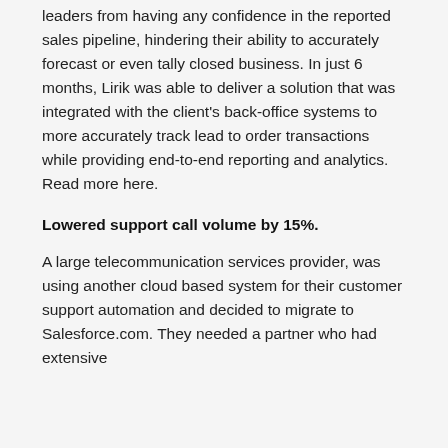leaders from having any confidence in the reported sales pipeline, hindering their ability to accurately forecast or even tally closed business. In just 6 months, Lirik was able to deliver a solution that was integrated with the client's back-office systems to more accurately track lead to order transactions while providing end-to-end reporting and analytics. Read more here.
Lowered support call volume by 15%.
A large telecommunication services provider, was using another cloud based system for their customer support automation and decided to migrate to Salesforce.com. They needed a partner who had extensive